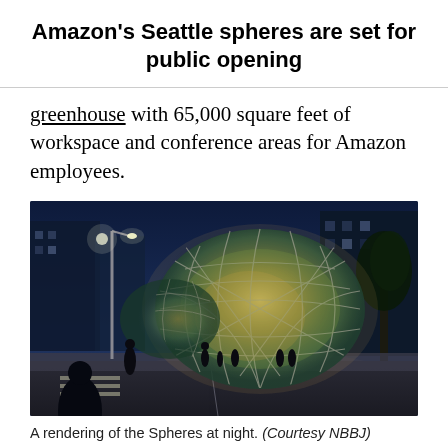Amazon's Seattle spheres are set for public opening
greenhouse with 65,000 square feet of workspace and conference areas for Amazon employees.
[Figure (photo): A night rendering of the Amazon Spheres in Seattle — large geodesic glass dome structures illuminated from within, showing tropical plants inside, set against a dark blue twilight sky with city buildings and street scene in the foreground.]
A rendering of the Spheres at night. (Courtesy NBBJ)